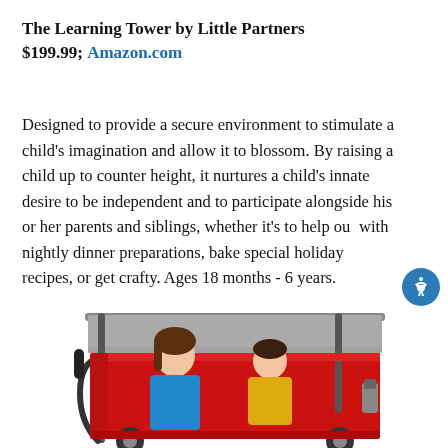The Learning Tower by Little Partners $199.99; Amazon.com
Designed to provide a secure environment to stimulate a child's imagination and allow it to blossom. By raising a child up to counter height, it nurtures a child's innate desire to be independent and to participate alongside his or her parents and siblings, whether it's to help out with nightly dinner preparations, bake special holiday recipes, or get crafty. Ages 18 months - 6 years.
[Figure (photo): Two children sitting in a red folding wagon with a canopy/shade cover. The wagon has a dark metal frame and red fabric sides. A girl in a blue shirt and a younger child in a yellow shirt are seated inside.]